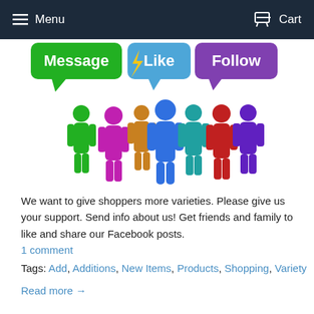Menu   Cart
[Figure (illustration): Social media illustration showing colorful 3D human figures in green, magenta, orange, blue, teal, red, and purple, with speech bubble icons above reading 'Message' (green), 'Like' (blue), and 'Follow' (purple).]
We want to give shoppers more varieties. Please give us your support. Send info about us! Get friends and family to like and share our Facebook posts.
1 comment
Tags: Add, Additions, New Items, Products, Shopping, Variety
Read more →